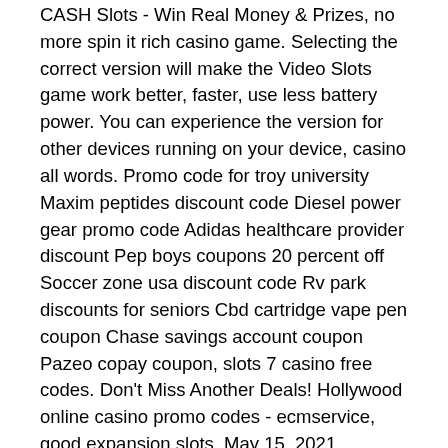CASH Slots - Win Real Money & Prizes, no more spin it rich casino game. Selecting the correct version will make the Video Slots game work better, faster, use less battery power. You can experience the version for other devices running on your device, casino all words. Promo code for troy university Maxim peptides discount code Diesel power gear promo code Adidas healthcare provider discount Pep boys coupons 20 percent off Soccer zone usa discount code Rv park discounts for seniors Cbd cartridge vape pen coupon Chase savings account coupon Pazeo copay coupon, slots 7 casino free codes. Don't Miss Another Deals! Hollywood online casino promo codes - ecmservice, good expansion slots. May 15, 2021 Hollywood Online Casino Promo Codes.
Jackpot casino free games, video poker slots